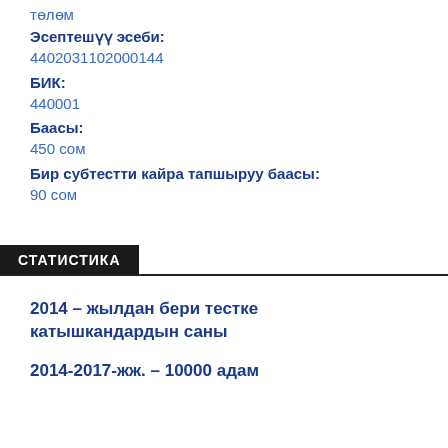төлөм
Эсептешүү эсеби:
4402031102000144
БИК:
440001
Баасы:
450 сом
Бир субтестти кайра тапшыруу баасы:
90 сом
СТАТИСТИКА
2014 – жылдан бери тестке катышкандардын саны
2014-2017-жж. – 10000 адам